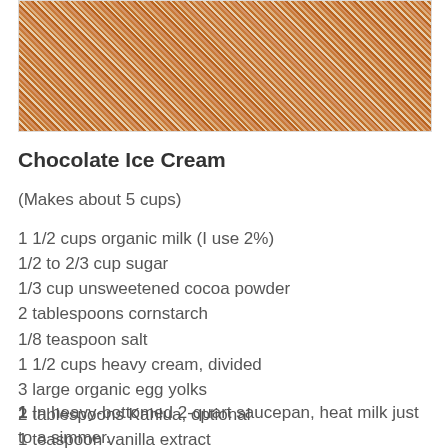[Figure (photo): Close-up photo of chocolate sprinkles or cocoa nibs scattered on a white surface with diagonal streaks of white]
Chocolate Ice Cream
(Makes about 5 cups)
1 1/2 cups organic milk (I use 2%)
1/2 to 2/3 cup sugar
1/3 cup unsweetened cocoa powder
2 tablespoons cornstarch
1/8 teaspoon salt
1 1/2 cups heavy cream, divided
3 large organic egg yolks
2 tablespoons Kahlua, optional
1 teaspoon vanilla extract
1 In heavy-bottomed 2-quart saucepan, heat milk just to a simmer.